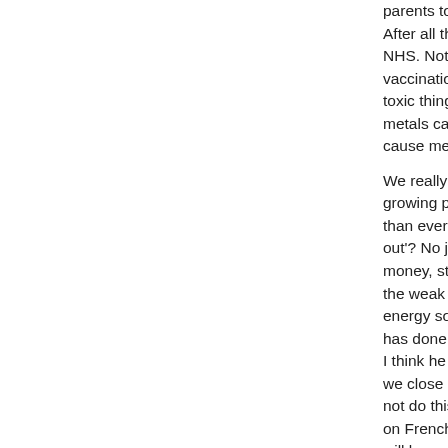parents to choose the individual vaccinations instead. After all they keep wanting to give people choice in the NHS. Note that babies are supposed to have about 25 vaccinations in their early years and they all contain toxic things like mercury and we all know that heavy metals cannot be processed by the body and can cause mental problems. We really do have bigger problems in this world. The growing population is using the available energy faster than ever and what will happen when the 'lights go out'? No jobs and no trucks delivering food equals money, starvation in cities, riots and the stong will bully the weak at least for a while. We urgently need new energy sources soon and the only thing Gordon Brown has done right to to propose nuclear power renewal. I think he has left it a bit late. The EU is insisting that we close our coal fired power stations but we should not do this until we have an alternative and No, relying on French generated electricity is not an option as it will be cut off when they find that they need it all. I am not all doom and gloom and am optimistic that the human race will survive but some things are just more believable than others. The days when everyone